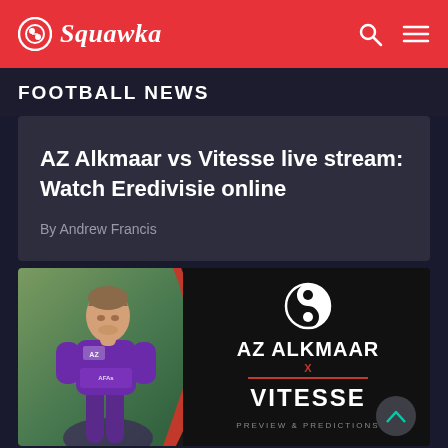Squawka
FOOTBALL NEWS
AZ Alkmaar vs Vitesse live stream: Watch Eredivisie online
By Andrew Francis
[Figure (photo): Match preview image showing an AZ Alkmaar player in purple kit on the left, with a black panel on the right showing the Squawka logo and text AZ ALKMAAR x VITESSE PREVIEW & PREDICTIONS]